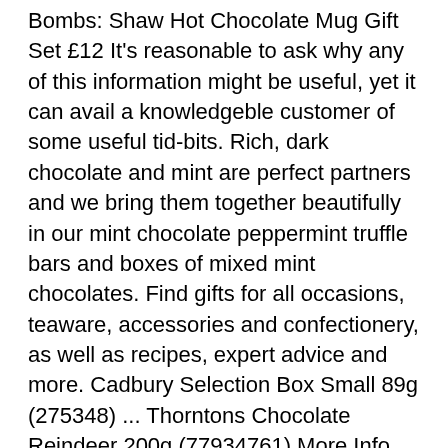Bombs: Shaw Hot Chocolate Mug Gift Set £12 It's reasonable to ask why any of this information might be useful, yet it can avail a knowledgeble customer of some useful tid-bits. Rich, dark chocolate and mint are perfect partners and we bring them together beautifully in our mint chocolate peppermint truffle bars and boxes of mixed mint chocolates. Find gifts for all occasions, teaware, accessories and confectionery, as well as recipes, expert advice and more. Cadbury Selection Box Small 89g (275348) ... Thorntons Chocolate Reindeer 200g (77934761) More Info. Add to Favourites Cadbury Dairy Milk 850g Chocolate … thorntons hot chocolate powder With 198 million hot chocolates served last year*, Thorntons Hot Chocolate Powder means operators can now bring a taste of luxury to all aspects of their offering. Please note that excessive consumption may cause laxative effects. Suitable for vegetarians; No gluten-containing ingredients; Alcohol-free recipe; May contain nuts; Contains added milk; Contains added soya; Free from artificial colours; Free from artificial ...